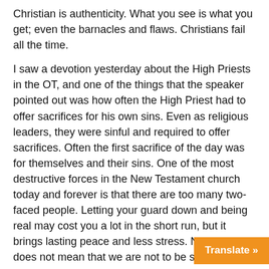Christian is authenticity. What you see is what you get; even the barnacles and flaws. Christians fail all the time.
I saw a devotion yesterday about the High Priests in the OT, and one of the things that the speaker pointed out was how often the High Priest had to offer sacrifices for his own sins. Even as religious leaders, they were sinful and required to offer sacrifices. Often the first sacrifice of the day was for themselves and their sins. One of the most destructive forces in the New Testament church today and forever is that there are too many two-faced people. Letting your guard down and being real may cost you a lot in the short run, but it brings lasting peace and less stress. Now, this does not mean that we are not to be seeking to surrender to the Lord; but don't act out what you are not.
Learn to Hate Evil, verse 9
Notice that we are called to stop something and then do something. We will never just hate evil and We must then learn to love what is good. T